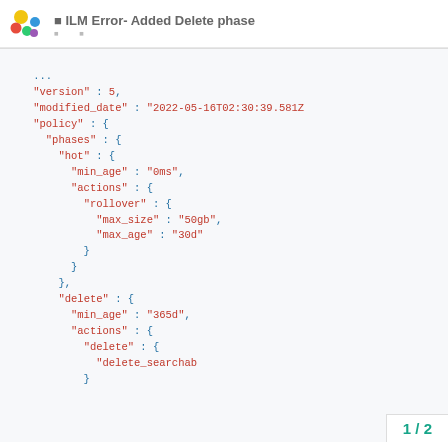ILM Error- Added Delete phase
[Figure (screenshot): JSON code block showing ILM policy configuration with version, modified_date, policy phases including hot (min_age 0ms, actions rollover max_size 50gb max_age 30d) and delete (min_age 365d, actions delete delete_searchable)]
1 / 2